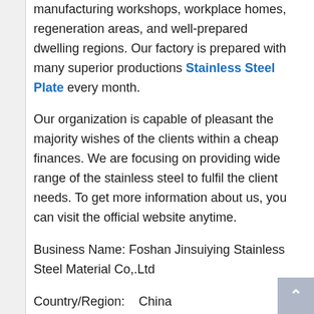We've got the best critical offerings with manufacturing workshops, workplace homes, regeneration areas, and well-prepared dwelling regions. Our factory is prepared with many superior productions Stainless Steel Plate every month.

Our organization is capable of pleasant the majority wishes of the clients within a cheap finances. We are focusing on providing wide range of the stainless steel to fulfil the client needs. To get more information about us, you can visit the official website anytime.

Business Name: Foshan Jinsuiying Stainless Steel Material Co,.Ltd

Country/Region:    China